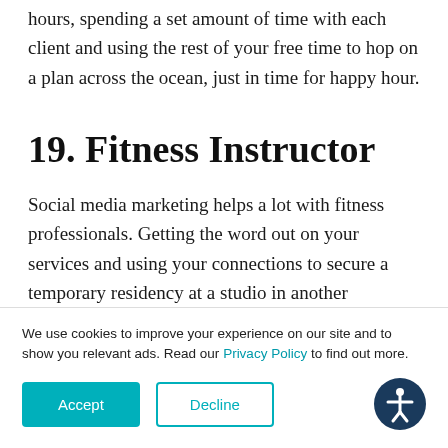hours, spending a set amount of time with each client and using the rest of your free time to hop on a plan across the ocean, just in time for happy hour.
19. Fitness Instructor
Social media marketing helps a lot with fitness professionals. Getting the word out on your services and using your connections to secure a temporary residency at a studio in another
We use cookies to improve your experience on our site and to show you relevant ads. Read our Privacy Policy to find out more.